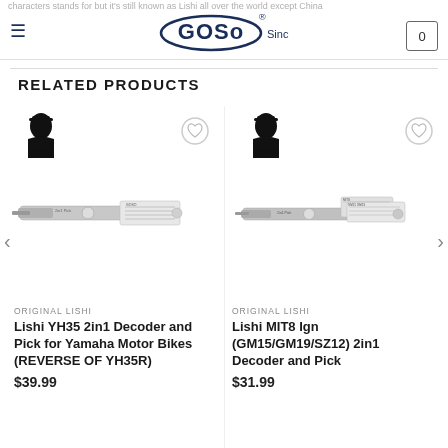GOSO Since 1993
characters stands for but it's still known as Lishi all over the world except China
RELATED PRODUCTS
[Figure (photo): Product photo of Lishi YH35 2in1 Decoder and Pick for Yamaha Motor Bikes with Lishi brand logo]
ORIGINAL LISHI
Lishi YH35 2in1 Decoder and Pick for Yamaha Motor Bikes (REVERSE OF YH35R)
$39.99
[Figure (photo): Product photo of Lishi MIT8 Ign (GM15/GM19/SZ12) 2in1 Decoder and Pick with Lishi brand logo]
ORIGINAL LISHI
Lishi MIT8 Ign (GM15/GM19/SZ12) 2in1 Decoder and Pick
$31.99